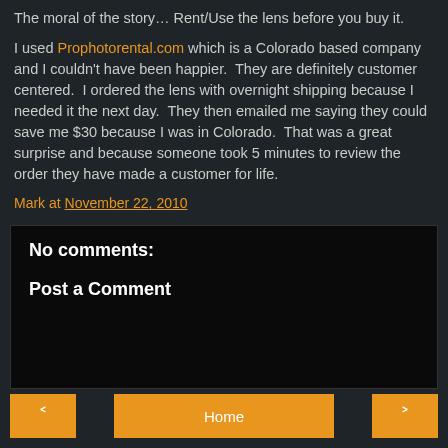The moral of the story… Rent/Use the lens before you buy it.
I used Prophotorental.com which is a Colorado based company and I couldn't have been happier. They are definitely customer centered. I ordered the lens with overnight shipping because I needed it the next day. They then emailed me saying they could save me $30 because I was in Colorado. That was a great surprise and because someone took 5 minutes to review the order they have made a customer for life.
Mark at November 22, 2010
No comments:
Post a Comment
< Home >